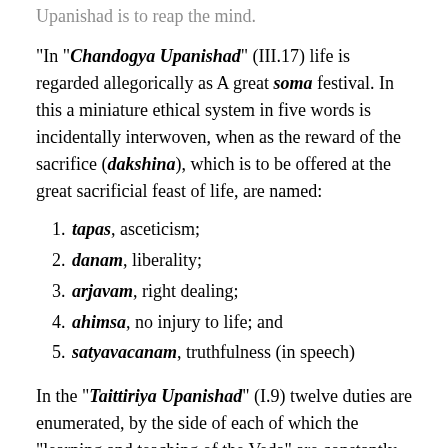Upanishad is to reap the mind.
"In "Chandogya Upanishad" (III.17) life is regarded allegorically as A great soma festival. In this a miniature ethical system in five words is incidentally interwoven, when as the reward of the sacrifice (dakshina), which is to be offered at the great sacrificial feast of life, are named:
tapas, asceticism;
danam, liberality;
arjavam, right dealing;
ahimsa, no injury to life; and
satyavacanam, truthfulness (in speech)
In the "Taittiriya Upanishad" (I.9) twelve duties are enumerated, by the side of each of which the "learning and teaching of the Veda" are constantly